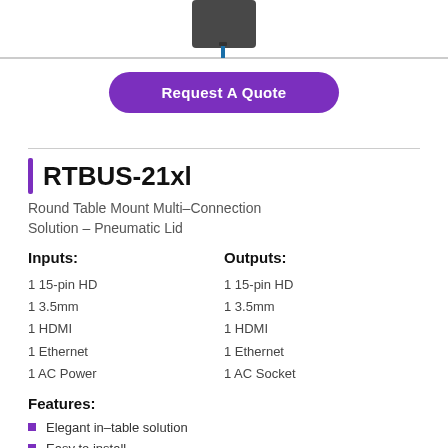[Figure (photo): Partial product image showing a round table mount connection solution with a dark body and blue cable connector, cropped at top]
Request A Quote
RTBUS-21xl
Round Table Mount Multi–Connection Solution – Pneumatic Lid
Inputs:
1 15-pin HD
1 3.5mm
1 HDMI
1 Ethernet
1 AC Power
Outputs:
1 15-pin HD
1 3.5mm
1 HDMI
1 Ethernet
1 AC Socket
Features:
Elegant in–table solution
Easy to install
Pneumatic lid